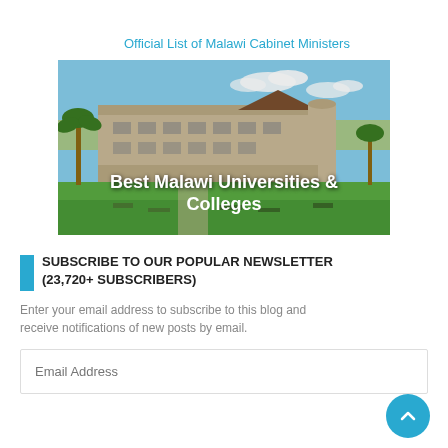Official List of Malawi Cabinet Ministers
[Figure (photo): A university or college building in Malawi with a green lawn, palm trees, benches, and a partly cloudy blue sky. White text overlay reads: Best Malawi Universities & Colleges]
SUBSCRIBE TO OUR POPULAR NEWSLETTER (23,720+ SUBSCRIBERS)
Enter your email address to subscribe to this blog and receive notifications of new posts by email.
Email Address